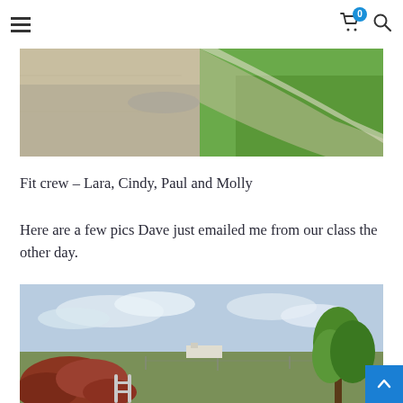Navigation menu with hamburger icon, cart (badge: 0), and search icon
[Figure (photo): Outdoor ground-level photo showing a dirt/gravel path meeting a grassy area, viewed from above]
Fit crew – Lara, Cindy, Paul and Molly
Here are a few pics Dave just emailed me from our class the other day.
[Figure (photo): Outdoor photo showing a pool area with red-leafed bushes, tropical trees, and an open sky with clouds in the background]